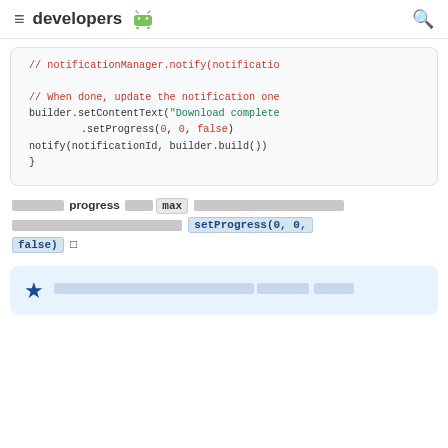≡ developers 🤖  🔍
[Figure (screenshot): Code block showing Android notification progress code snippet with comments and method calls in monospace font on light gray background]
xxxxxxx progress xxxxx max xxxxxxxxxxxxxxxxxxxxxxxxxxxxxxxxxxxxxxxxxxxxxxxxxxxxxxxxxxxxxxx setProgress(0, 0, false) □
★ xxxxxxxxxxxxxxxxxxxxxxxxxxxxxxxxxxxxxxxxxx (underlined) xxxxxxx